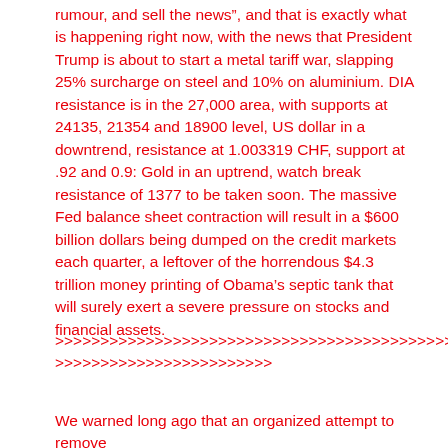rumour, and sell the news”, and that is exactly what is happening right now, with the news that President Trump is about to start a metal tariff war, slapping 25% surcharge on steel and 10% on aluminium. DIA resistance is in the 27,000 area, with supports at 24135, 21354 and 18900 level, US dollar in a downtrend, resistance at 1.003319 CHF, support at .92 and 0.9: Gold in an uptrend, watch break resistance of 1377 to be taken soon. The massive Fed balance sheet contraction will result in a $600 billion dollars being dumped on the credit markets each quarter, a leftover of the horrendous $4.3 trillion money printing of Obama’s septic tank that will surely exert a severe pressure on stocks and financial assets.
>>>>>>>>>>>>>>>>>>>>>>>>>>>>>>>>>>>>>>>>>>>>>> >>>>>>>>>>>>>>>>>>>>>>>>
We warned long ago that an organized attempt to remove